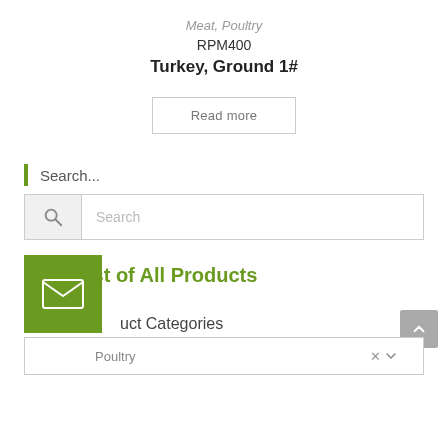Meat, Poultry
RPM400
Turkey, Ground 1#
Read more
Search...
Search
View List of All Products
uct Categories
Poultry